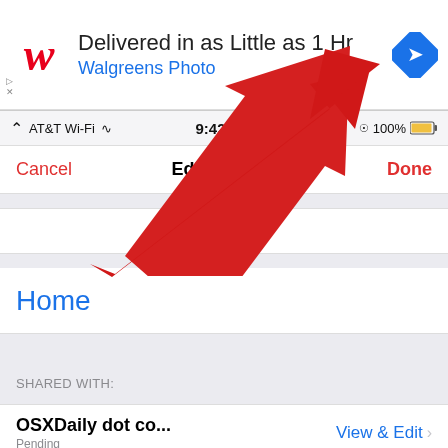[Figure (screenshot): Walgreens Photo advertisement banner: 'Delivered in as Little as 1 Hr / Walgreens Photo' with red W logo and blue diamond arrow icon. Below: iOS iPhone screen showing Edit Calendar interface with Cancel/Done buttons, Home calendar entry, Shared With section, OSXDaily dot c... entry with View & Edit option, and Add Person link. A large red arrow points to the Done button.]
osxdaily.com